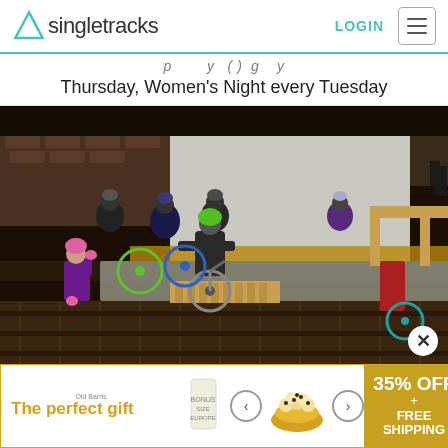Singletracks — LOGIN
Thursday, Women's Night every Tuesday
[Figure (photo): Indoor mountain bike skills park with multiple riders. A girl in a green helmet rides a mountain bike on a wooden feature while a younger girl in a pink helmet high-fives her. Several other riders with bikes stand in the background near a raised platform. The setting is an indoor facility with brick walls and wooden ramp structures.]
[Figure (photo): Advertisement banner: 'The perfect gift' with food product image (popcorn/snack bowl) and '35% OFF + FREE SHIPPING' offer. Brand logo visible at top left of ad.]